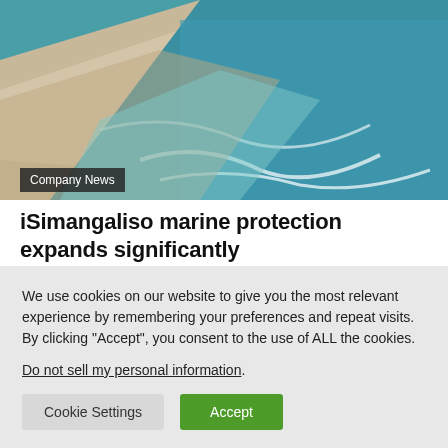[Figure (photo): Aerial view of a beach with sandy shore and turquoise ocean waves]
Company News
iSimangaliso marine protection expands significantly
Editor · Jun 3, 2019
We use cookies on our website to give you the most relevant experience by remembering your preferences and repeat visits. By clicking "Accept", you consent to the use of ALL the cookies.
Do not sell my personal information.